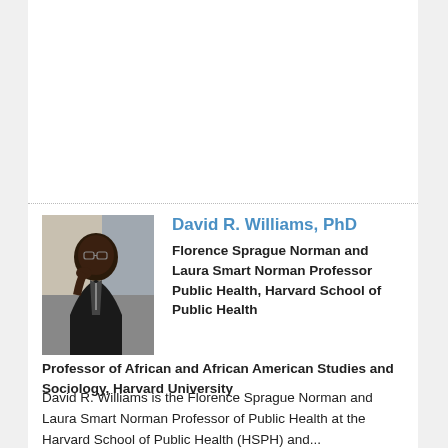[Figure (photo): Headshot photo of David R. Williams, a man in a suit resting his chin on his hand]
David R. Williams, PhD
Florence Sprague Norman and Laura Smart Norman Professor Public Health, Harvard School of Public Health
Professor of African and African American Studies and Sociology, Harvard University
David R. Williams is the Florence Sprague Norman and Laura Smart Norman Professor of Public Health at the Harvard School of Public Health (HSPH) and...